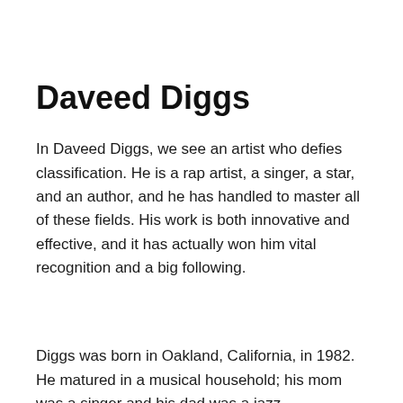Daveed Diggs
In Daveed Diggs, we see an artist who defies classification. He is a rap artist, a singer, a star, and an author, and he has handled to master all of these fields. His work is both innovative and effective, and it has actually won him vital recognition and a big following.
Diggs was born in Oakland, California, in 1982. He matured in a musical household; his mom was a singer and his dad was a jazz